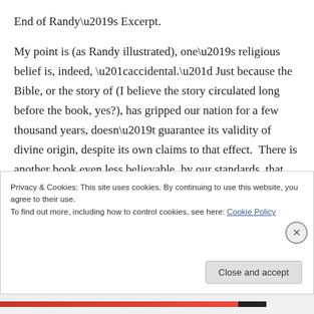End of Randy’s Excerpt.
My point is (as Randy illustrated), one’s religious belief is, indeed, “accidental.” Just because the Bible, or the story of (I believe the story circulated long before the book, yes?), has gripped our nation for a few thousand years, doesn’t guarantee its validity of divine origin, despite its own claims to that effect.  There is another book even less believable, by our standards, that has gripped a much larger
Privacy & Cookies: This site uses cookies. By continuing to use this website, you agree to their use.
To find out more, including how to control cookies, see here: Cookie Policy
Close and accept